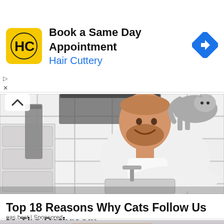[Figure (infographic): Hair Cuttery advertisement banner with yellow logo showing HC initials, text 'Book a Same Day Appointment' and 'Hair Cuttery' in blue, and a blue diamond navigation icon on the right]
[Figure (photo): Man leaning over a bathroom sink smiling at camera while a cat stands on the bathroom mirror shelf above him. White subway tile walls, grey towel hanging, bathroom fixtures visible.]
Top 18 Reasons Why Cats Follow Us to The Bathroom
eas.best | Sponsored
[Figure (photo): Partial photo of a woman with long blonde hair on a grey background, cropped at bottom of page]